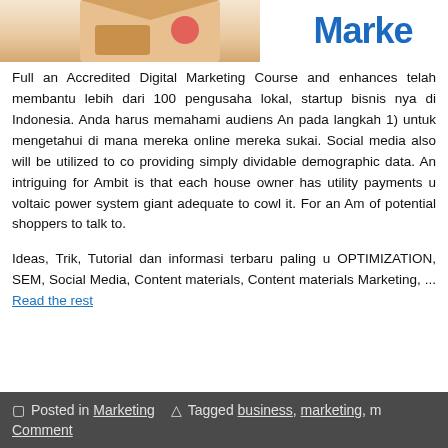[Figure (illustration): Partial view of a box/package image on the left and a 'Marke' logo/text on the right, cropped at the top of the page]
Full an Accredited Digital Marketing Course and enhances telah membantu lebih dari 100 pengusaha lokal, startup bisnis nya di Indonesia. Anda harus memahami audiens An pada langkah 1) untuk mengetahui di mana mereka online mereka sukai. Social media also will be utilized to co providing simply dividable demographic data. An intriguin for Ambit is that each house owner has utility payments u voltaic power system giant adequate to cowl it. For an Am of potential shoppers to talk to.
Ideas, Trik, Tutorial dan informasi terbaru paling u OPTIMIZATION, SEM, Social Media, Content materials, Content materials Marketing, ... Read the rest
Posted in Marketing  Tagged business, marketing, m Comment